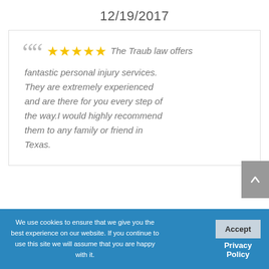12/19/2017
The Traub law offers fantastic personal injury services. They are extremely experienced and are there for you every step of the way.I would highly recommend them to any family or friend in Texas.
We use cookies to ensure that we give you the best experience on our website. If you continue to use this site we will assume that you are happy with it.
Accept
Privacy Policy